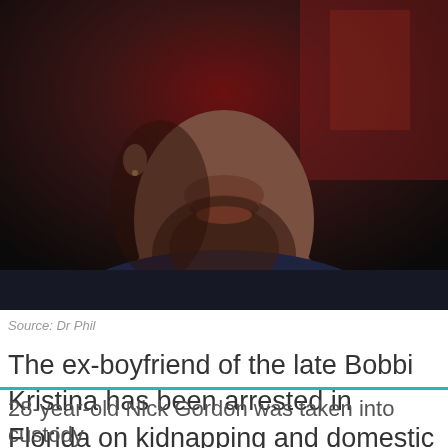[Figure (photo): Close-up photo of a man from chin/jaw level, showing stubble/beard, wearing a dark navy jacket, shot in a dimly lit reddish-brown indoor setting. Source labeled as Dr Phil.]
Source: Dr Phil
The ex-boyfriend of the late Bobbi Kristina has been arrested in Florida on kidnapping and domestic violence charges.
28-year-old Nick Gordon was taken into custody